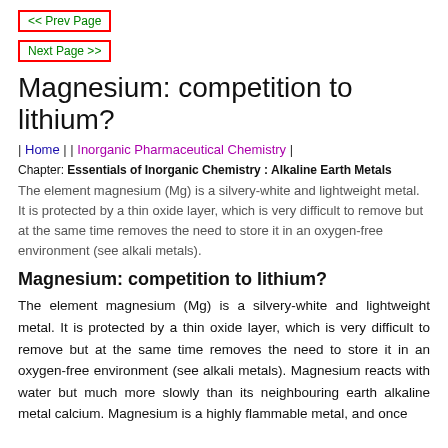<< Prev Page
Next Page >>
Magnesium: competition to lithium?
| Home | | Inorganic Pharmaceutical Chemistry |
Chapter: Essentials of Inorganic Chemistry : Alkaline Earth Metals
The element magnesium (Mg) is a silvery-white and lightweight metal. It is protected by a thin oxide layer, which is very difficult to remove but at the same time removes the need to store it in an oxygen-free environment (see alkali metals).
Magnesium: competition to lithium?
The element magnesium (Mg) is a silvery-white and lightweight metal. It is protected by a thin oxide layer, which is very difficult to remove but at the same time removes the need to store it in an oxygen-free environment (see alkali metals). Magnesium reacts with water but much more slowly than its neighbouring earth alkaline metal calcium. Magnesium is a highly flammable metal, and once